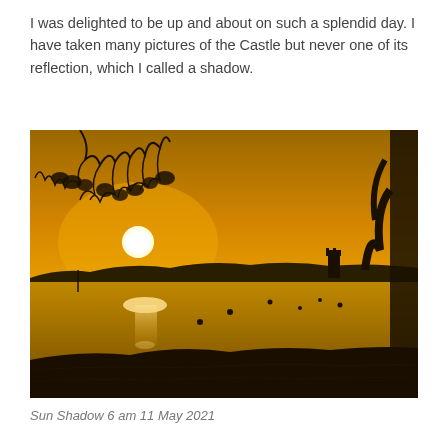I was delighted to be up and about on such a splendid day. I have taken many pictures of the Castle but never one of its reflection, which I called a shadow.
[Figure (photo): A golden sunrise photograph over a calm river or estuary. Tree branches silhouetted in the foreground at the top, dark shoreline in the bottom-left and right, a castle or tower silhouette visible on the right middle distance, boats and buoys on the water, and a bright glowing sun with its reflection on the water surface.]
Sun Shadow 6 am 11 May 2021